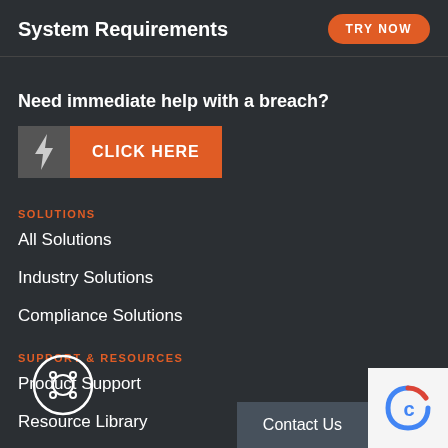System Requirements
TRY NOW
Need immediate help with a breach?
[Figure (other): Orange CLICK HERE button with lightning bolt icon on dark background]
SOLUTIONS
All Solutions
Industry Solutions
Compliance Solutions
SUPPORT & RESOURCES
Product Support
Resource Library
Customer Stories
Contact Us